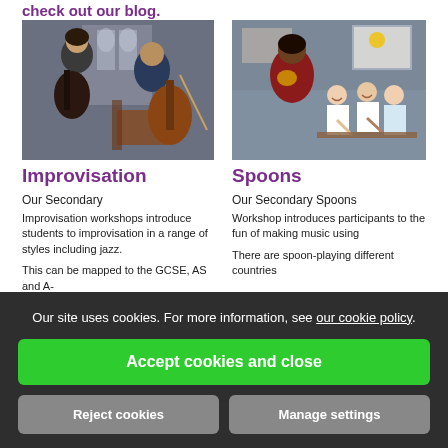check out our blog.
[Figure (photo): Two musicians playing guitar and cello/double bass indoors, with gothic architecture visible in background]
[Figure (photo): A teacher with several young students playing instruments in a classroom setting]
Improvisation
Spoons
Our Secondary
Our Secondary Spoons
Improvisation workshops introduce students to improvisation in a range of styles including jazz.
Workshop introduces participants to the fun of making music using
This can be mapped to the GCSE, AS and A-
There are spoon-playing different countries
Our site uses cookies. For more information, see our cookie policy.
Accept cookies and close
Reject cookies
Manage settings